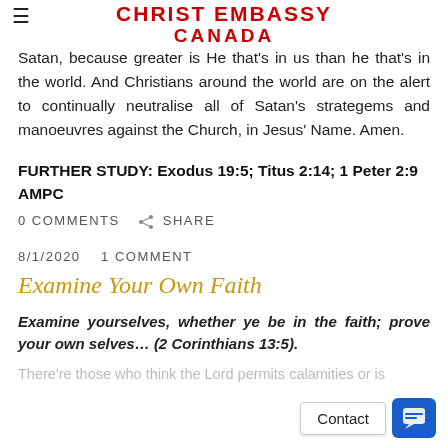CHRIST EMBASSY CANADA
Satan, because greater is He that's in us than he that's in the world. And Christians around the world are on the alert to continually neutralise all of Satan's strategems and manoeuvres against the Church, in Jesus' Name. Amen.
FURTHER STUDY: Exodus 19:5; Titus 2:14; 1 Peter 2:9 AMPC
0 COMMENTS   SHARE
8/1/2020   1 COMMENT
Examine Your Own Faith
Examine yourselves, whether ye be in the faith; prove your own selves… (2 Corinthians 13:5).
There're those who think the Lord permits calamities or is